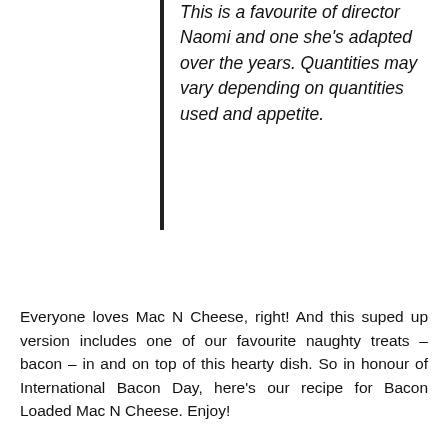This is a favourite of director Naomi and one she's adapted over the years. Quantities may vary depending on quantities used and appetite.
Everyone loves Mac N Cheese, right! And this suped up version includes one of our favourite naughty treats – bacon – in and on top of this hearty dish. So in honour of International Bacon Day, here's our recipe for Bacon Loaded Mac N Cheese. Enjoy!
[Figure (photo): A close-up photo of a bowl of Bacon Loaded Mac N Cheese, showing macaroni pasta with melted cheese and bacon pieces, served in a white bowl against a dark blue background.]